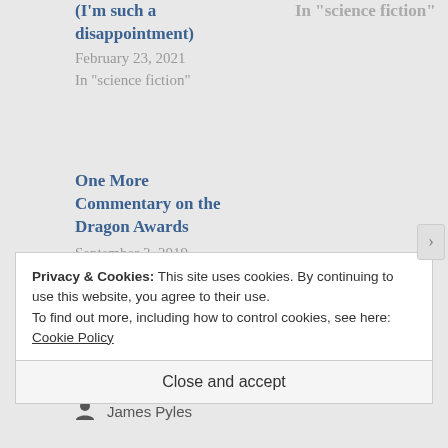(I'm such a disappointment)
February 23, 2021
In "science fiction"
In "science fiction"
One More Commentary on the Dragon Awards
September 2, 2019
In "science fiction"
October 11, 2019
James Pyles
Privacy & Cookies: This site uses cookies. By continuing to use this website, you agree to their use.
To find out more, including how to control cookies, see here: Cookie Policy
Close and accept